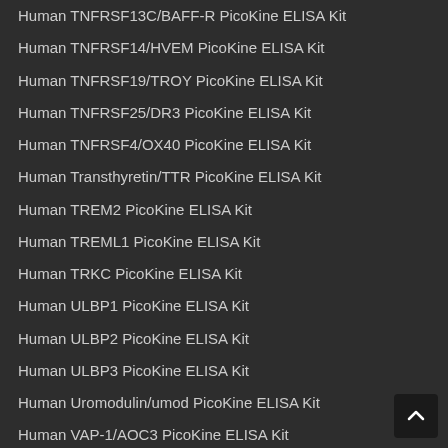Human TNFRSF13C/BAFF-R PicoKine ELISA Kit
Human TNFRSF14/HVEM PicoKine ELISA Kit
Human TNFRSF19/TROY PicoKine ELISA Kit
Human TNFRSF25/DR3 PicoKine ELISA Kit
Human TNFRSF4/OX40 PicoKine ELISA Kit
Human Transthyretin/TTR PicoKine ELISA Kit
Human TREM2 PicoKine ELISA Kit
Human TREML1 PicoKine ELISA Kit
Human TRKC PicoKine ELISA Kit
Human ULBP1 PicoKine ELISA Kit
Human ULBP2 PicoKine ELISA Kit
Human ULBP3 PicoKine ELISA Kit
Human Uromodulin/umod PicoKine ELISA Kit
Human VAP-1/AOC3 PicoKine ELISA Kit
Human VE-Cadherin/CD144 PicoKine ELISA Kit
Human Vitamin DBP PicoKine ELISA Kit
Human VWF-A2 PicoKine ELISA Kit
Human WIF1 PicoKine ELISA Kit